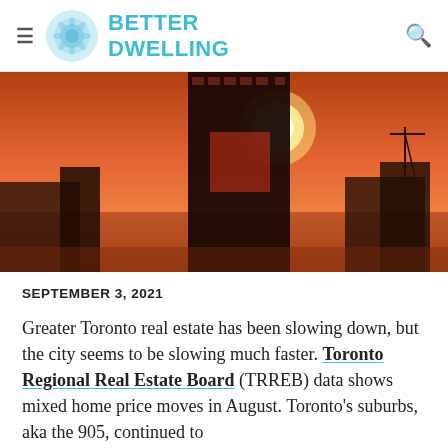Better Dwelling
[Figure (photo): Cityscape photo of a tall skyscraper silhouetted against an orange-red sunset sky, with other buildings in the background and a large sun partially behind the tower.]
SEPTEMBER 3, 2021
Greater Toronto real estate has been slowing down, but the city seems to be slowing much faster. Toronto Regional Real Estate Board (TRREB) data shows mixed home price moves in August. Toronto's suburbs, aka the 905, continued to